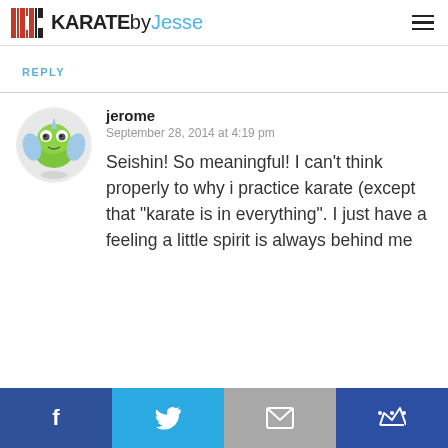KARATEbyJesse
REPLY
jerome
September 28, 2014 at 4:19 pm
Seishin! So meaningful! I can't think properly to why i practice karate (except that "karate is in everything". I just have a feeling a little spirit is always behind me